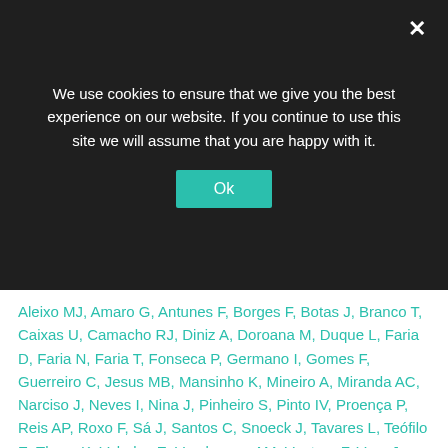We use cookies to ensure that we give you the best experience on our website. If you continue to use this site we will assume that you are happy with it.
Aleixo MJ, Amaro G, Antunes F, Borges F, Botas J, Branco T, Caixas U, Camacho RJ, Diniz A, Doroana M, Duque L, Faria D, Faria N, Faria T, Fonseca P, Germano I, Gomes F, Guerreiro C, Jesus MB, Mansinho K, Mineiro A, Miranda AC, Narciso J, Neves I, Nina J, Pinheiro S, Pinto IV, Proença P, Reis AP, Roxo F, Sá J, Santos C, Snoeck J, Tavares L, Teófilo E, Theys K, Valadas E, Vandamme AM, Ventura F, Vera J, Vercauteren J
Ano de Publicação: 2013
Journal: Journal of Antimicrobial Chemotherapy
Link:
http://www.ncbi.nlm.nih.gov/pubmed/23027713